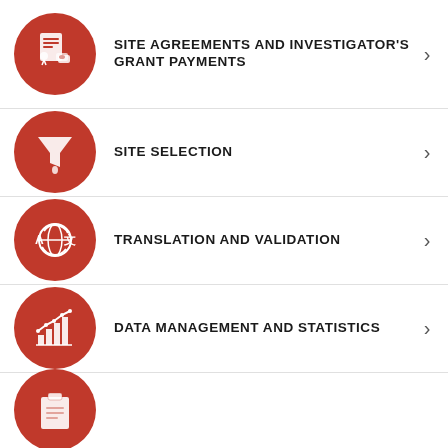SITE AGREEMENTS AND INVESTIGATOR'S GRANT PAYMENTS
SITE SELECTION
TRANSLATION AND VALIDATION
DATA MANAGEMENT AND STATISTICS
(partial item, icon only visible)